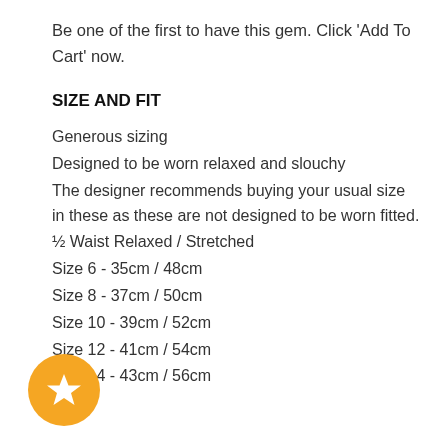Be one of the first to have this gem. Click 'Add To Cart' now.
SIZE AND FIT
Generous sizing
Designed to be worn relaxed and slouchy
The designer recommends buying your usual size in these as these are not designed to be worn fitted.
½ Waist Relaxed / Stretched
Size 6 - 35cm / 48cm
Size 8 - 37cm / 50cm
Size 10 - 39cm / 52cm
Size 12 - 41cm / 54cm
Size 14 - 43cm / 56cm
[Figure (illustration): Orange circular star badge/icon overlapping the bottom-left of the text content]